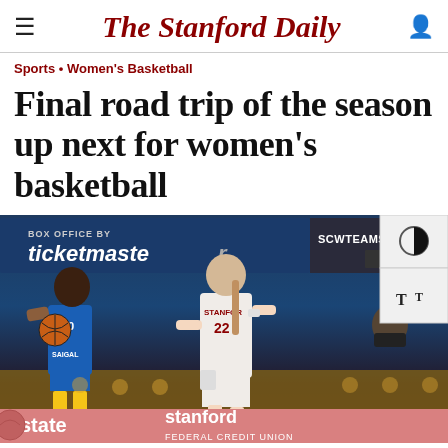The Stanford Daily
Sports • Women's Basketball
Final road trip of the season up next for women's basketball
[Figure (photo): Women's basketball game between Stanford (player #22 in white) and UCLA (player #20 in blue), with ticketmaster and Stanford Federal Credit Union banners visible in the arena]